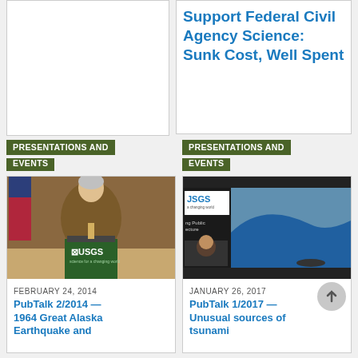Support Federal Civil Agency Science: Sunk Cost, Well Spent
PRESENTATIONS AND EVENTS
PRESENTATIONS AND EVENTS
[Figure (photo): Man in brown jacket speaking at a USGS podium with an American flag in background]
FEBRUARY 24, 2014
PubTalk 2/2014 — 1964 Great Alaska Earthquake and
[Figure (screenshot): USGS video screenshot showing a tsunami wave with JSGS logo and presenter inset]
JANUARY 26, 2017
PubTalk 1/2017 — Unusual sources of tsunami